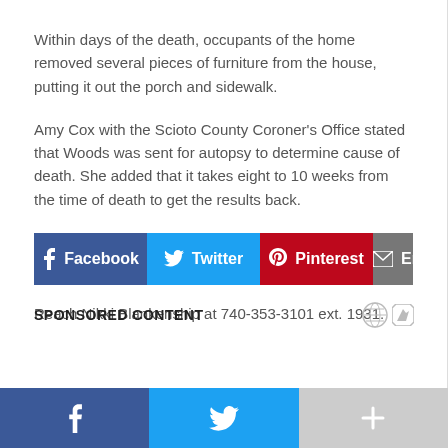Within days of the death, occupants of the home removed several pieces of furniture from the house, putting it out the porch and sidewalk.
Amy Cox with the Scioto County Coroner's Office stated that Woods was sent for autopsy to determine cause of death. She added that it takes eight to 10 weeks from the time of death to get the results back.
[Figure (other): Social share buttons row: Facebook (blue), Twitter (light blue), Pinterest (red), Email (grey)]
Reach Nikki Blankenship at 740-353-3101 ext. 1931.
SPONSORED CONTENT
[Figure (other): Bottom social share bar with Facebook (dark blue), Twitter (light blue), and More (+) (grey) buttons]